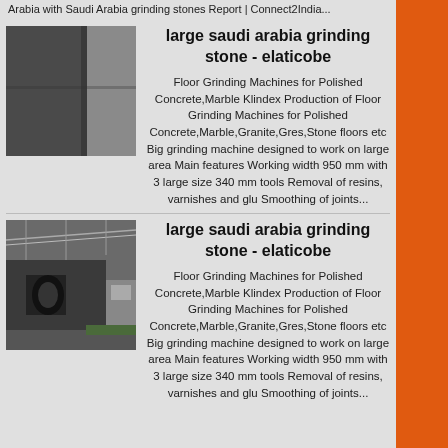Arabia with Saudi Arabia grinding stones Report | Connect2India...
large saudi arabia grinding stone - elaticobe
Floor Grinding Machines for Polished Concrete,Marble Klindex Production of Floor Grinding Machines for Polished Concrete,Marble,Granite,Gres,Stone floors etc Big grinding machine designed to work on large area Main features Working width 950 mm with 3 large size 340 mm tools Removal of resins, varnishes and glu Smoothing of joints...
[Figure (photo): Dark grey surface, possibly a grinding stone or machine surface]
large saudi arabia grinding stone - elaticobe
Floor Grinding Machines for Polished Concrete,Marble Klindex Production of Floor Grinding Machines for Polished Concrete,Marble,Granite,Gres,Stone floors etc Big grinding machine designed to work on large area Main features Working width 950 mm with 3 large size 340 mm tools Removal of resins, varnishes and glu Smoothing of joints...
[Figure (photo): Industrial warehouse interior with large machinery and equipment]